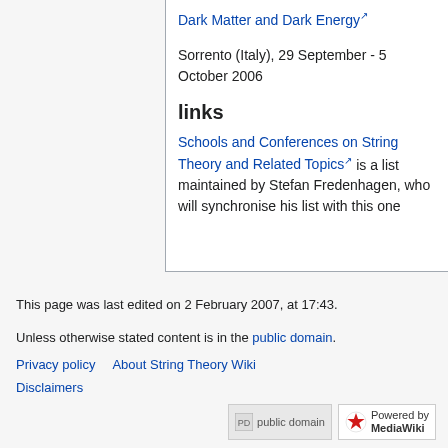Dark Matter and Dark Energy
Sorrento (Italy), 29 September - 5 October 2006
links
Schools and Conferences on String Theory and Related Topics is a list maintained by Stefan Fredenhagen, who will synchronise his list with this one
This page was last edited on 2 February 2007, at 17:43.
Unless otherwise stated content is in the public domain.
Privacy policy   About String Theory Wiki
Disclaimers